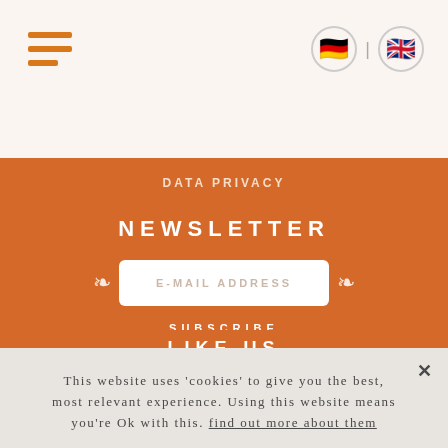[Figure (other): Hamburger menu icon with three orange horizontal bars]
[Figure (other): German and UK flag circles for language selection]
DATA PRIVACY
NEWSLETTER
E-MAIL ADDRESS
SUBSCRIBE
LIKE US
FACEBOOK
PARTNER
This website uses 'cookies' to give you the best, most relevant experience. Using this website means you're Ok with this. find out more about them